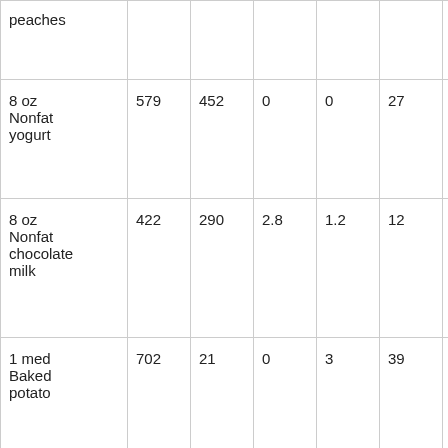| peaches |  |  |  |  |  |  |  |  |
| 8 oz Nonfat yogurt | 579 | 452 | 0 | 0 | 27 | 0.2 | 1.38 | 127 |
| 8 oz Nonfat chocolate milk | 422 | 290 | 2.8 | 1.2 | 12 | 0.68 | 0.8 | 158 |
| 1 med Baked potato | 702 | 21 | 0 | 3 | 39 | 1.49 | 0 | 128 |
| 3 oz Halibut | 490 | 8 | 4.9 | 0 | 12 | 0.17 | 1.08 | 94 |